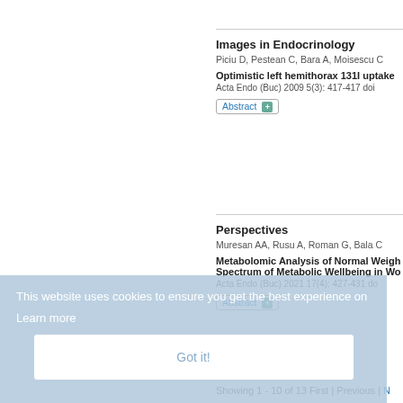Images in Endocrinology
Piciu D, Pestean C, Bara A, Moisescu C
Optimistic left hemithorax 131I uptake
Acta Endo (Buc) 2009 5(3): 417-417 doi
Abstract
Perspectives
Muresan AA, Rusu A, Roman G, Bala C
Metabolomic Analysis of Normal Weight Spectrum of Metabolic Wellbeing in Wo
Acta Endo (Buc) 2021 17(4): 427-431 do
Abstract
This website uses cookies to ensure you get the best experience on
Learn more
Got it!
Showing 1 - 10 of 13 First | Previous | N